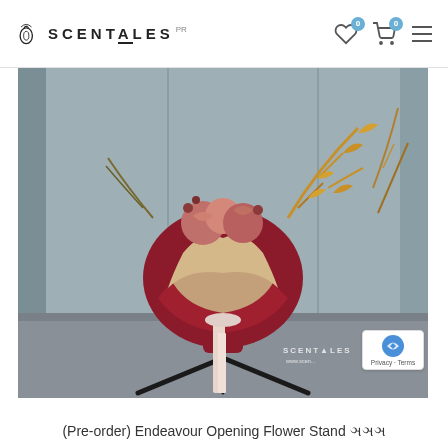SCENTALES
[Figure (photo): A large floral bouquet arrangement wrapped in dark red/burgundy paper with cream ribbon, displayed on a black metal tripod stand against a grey background. The arrangement includes dried golden fern fronds and flowers. The Scentales watermark and website URL are visible in the lower right of the image.]
(Pre-order) Endeavour Opening Flower Stand ꩜꩜꩜